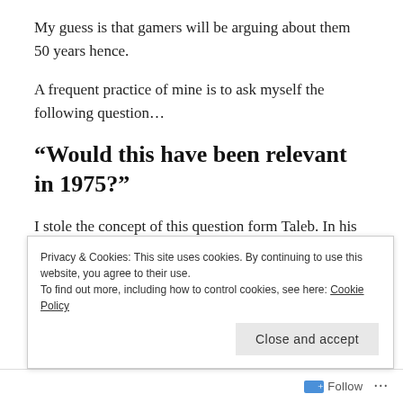My guess is that gamers will be arguing about them 50 years hence.
A frequent practice of mine is to ask myself the following question…
“Would this have been relevant in 1975?”
I stole the concept of this question form Taleb. In his book Antifraaile he suggests that if writers want their
Privacy & Cookies: This site uses cookies. By continuing to use this website, you agree to their use.
To find out more, including how to control cookies, see here: Cookie Policy
Close and accept